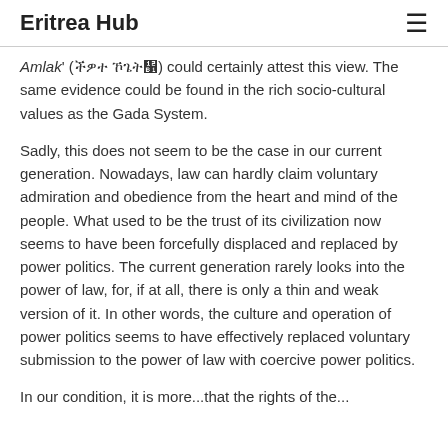Eritrea Hub
Amlak' (ህዝቢ ኤርትራ) could certainly attest this view. The same evidence could be found in the rich socio-cultural values as the Gada System.
Sadly, this does not seem to be the case in our current generation. Nowadays, law can hardly claim voluntary admiration and obedience from the heart and mind of the people. What used to be the trust of its civilization now seems to have been forcefully displaced and replaced by power politics. The current generation rarely looks into the power of law, for, if at all, there is only a thin and weak version of it. In other words, the culture and operation of power politics seems to have effectively replaced voluntary submission to the power of law with coercive power politics.
In our tradition, it is more...that the rights of the...